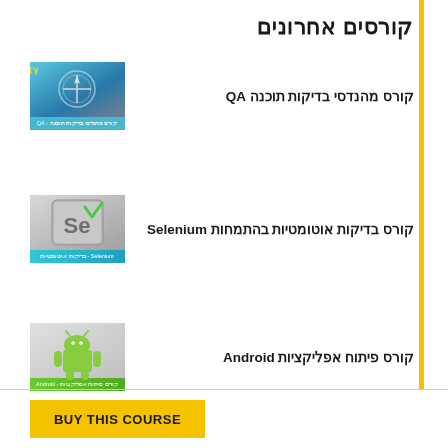קורסים אחרונים
קורס מהנדסי בדיקות תוכנה QA
[Figure (photo): QA course thumbnail with compass and quality text]
קורס בדיקות אוטומטיות בהתמחות Selenium
[Figure (photo): Selenium course thumbnail with Se logo and checkmark]
קורס פיתוח אפליקציות Android
[Figure (photo): Android course thumbnail with Android robot logo]
BUY THIS COURSE